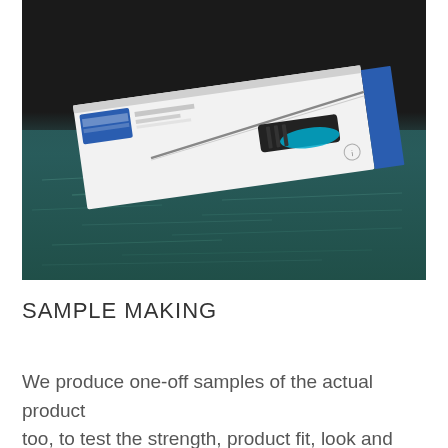[Figure (photo): A product packaging box for a kitchen knife or similar utensil, lying on a teal/green reflective surface with a dark background. The white box displays the product inside — a knife with black and blue/teal handle — visible through packaging design.]
SAMPLE MAKING
We produce one-off samples of the actual product too, to test the strength, product fit, look and feel of